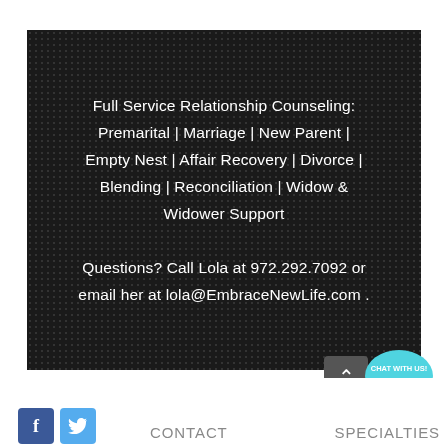Full Service Relationship Counseling: Premarital | Marriage | New Parent | Empty Nest | Affair Recovery | Divorce | Blending | Reconciliation | Widow & Widower Support Questions? Call Lola at 972.292.7092 or email her at lola@EmbraceNewLife.com .
[Figure (other): Chat With Us button bubble and dark scroll-to-top arrow button]
CONTACT
SPECIALTIES